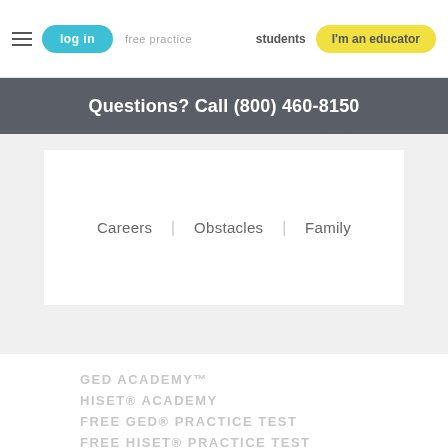log in  free practice  students  I'm an educator
Questions? Call (800) 460-8150
Careers | Obstacles | Family
GED ACADEMY™
HISET® ACADEMY
FREE GED® PRACTICE TEST
FREE HISET® PRACTICE TEST
LOCATE TESTING CENTERS
ALL COURSES
DREAM CATCHER